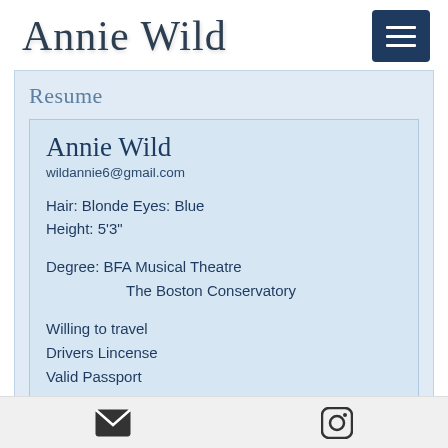Annie Wild
Resume
Annie Wild
wildannie6@gmail.com
Hair: Blonde Eyes: Blue
Height: 5'3"
Degree: BFA Musical Theatre
          The Boston Conservatory
Willing to travel
Drivers Lincense
Valid Passport
[Figure (photo): Partial photo of a person, cropped at bottom of visible area]
Email icon | Instagram icon